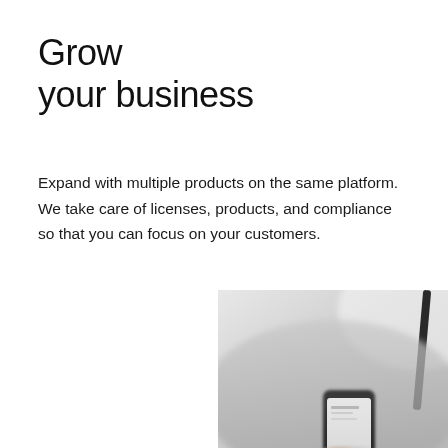Grow your business
Expand with multiple products on the same platform. We take care of licenses, products, and compliance so that you can focus on your customers.
[Figure (photo): A blurred photo showing a smartphone being held, with light grey and white tones in the background suggesting an office or modern environment.]